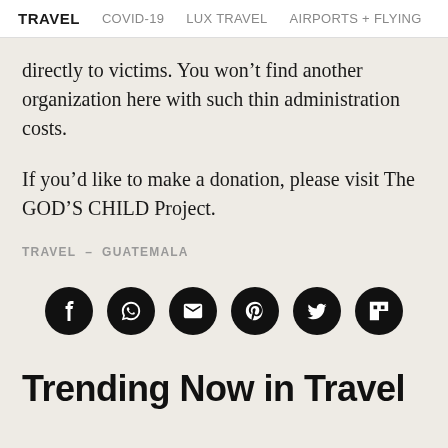TRAVEL  COVID-19  LUX TRAVEL  AIRPORTS + FLYING
directly to victims. You won’t find another organization here with such thin administration costs.
If you’d like to make a donation, please visit The GOD’S CHILD Project.
TRAVEL – GUATEMALA
[Figure (infographic): Row of six circular black social media share icons: Facebook, WhatsApp, email, Pinterest, Twitter, Flipboard]
Trending Now in Travel